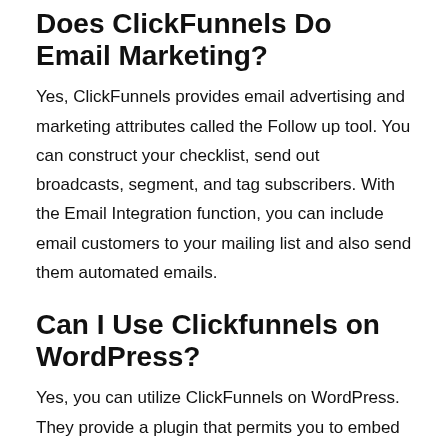Does ClickFunnels Do Email Marketing?
Yes, ClickFunnels provides email advertising and marketing attributes called the Follow up tool. You can construct your checklist, send out broadcasts, segment, and tag subscribers. With the Email Integration function, you can include email customers to your mailing list and also send them automated emails.
Can I Use Clickfunnels on WordPress?
Yes, you can utilize ClickFunnels on WordPress. They provide a plugin that permits you to embed your funnel pages on your WordPress website.